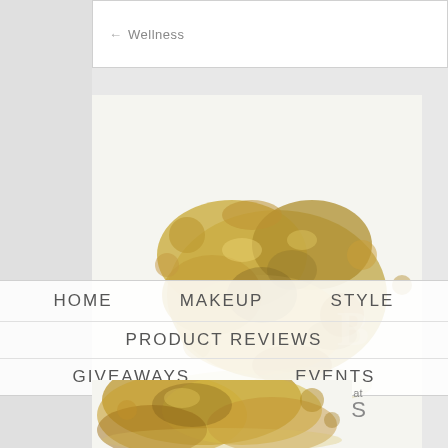← Wellness
[Figure (photo): Gold/bronze crushed makeup powder eyeshadow spilling, top portion, on white background]
HOME   MAKEUP   STYLE
PRODUCT REVIEWS
GIVEAWAYS   EVENTS
2014 The Beauty Wall. Email us at thebeautywall.com.
A   WELLNESS
[Figure (photo): Gold/bronze crushed makeup powder eyeshadow spilling, bottom portion, on white background]